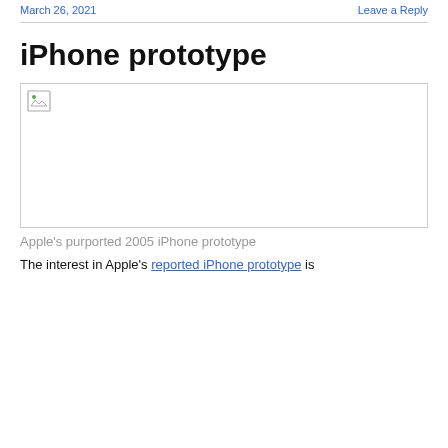March 26, 2021   Leave a Reply
iPhone prototype
[Figure (photo): Broken image placeholder for Apple's purported 2005 iPhone prototype]
Apple's purported 2005 iPhone prototype
The interest in Apple's reported iPhone prototype is